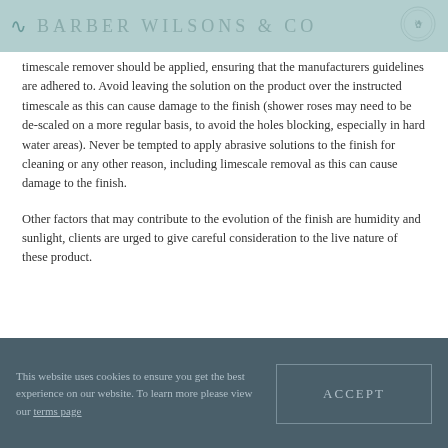BARBER WILSONS & Co
timescale remover should be applied, ensuring that the manufacturers guidelines are adhered to. Avoid leaving the solution on the product over the instructed timescale as this can cause damage to the finish (shower roses may need to be de-scaled on a more regular basis, to avoid the holes blocking, especially in hard water areas). Never be tempted to apply abrasive solutions to the finish for cleaning or any other reason, including limescale removal as this can cause damage to the finish.
Other factors that may contribute to the evolution of the finish are humidity and sunlight, clients are urged to give careful consideration to the live nature of these product.
This website uses cookies to ensure you get the best experience on our website. To learn more please view our terms page